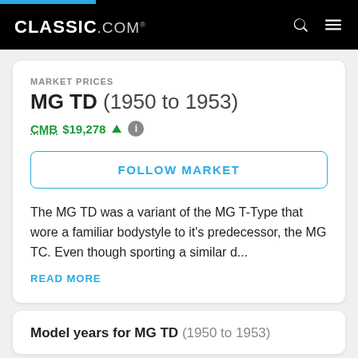CLASSIC.COM
MARKET PRICES
MG TD (1950 to 1953)
CMB $19,278 ↑
FOLLOW MARKET
The MG TD was a variant of the MG T-Type that wore a familiar bodystyle to it's predecessor, the MG TC. Even though sporting a similar d...
READ MORE
Model years for MG TD (1950 to 1953)